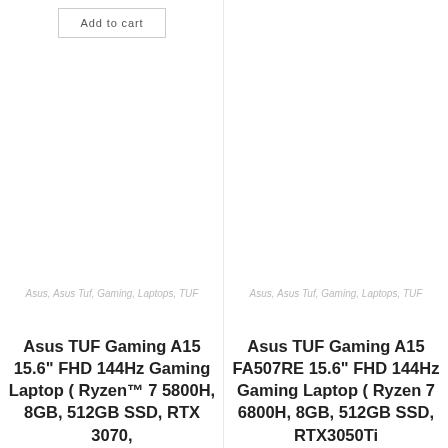Add to cart
Asus, Asus Tuf, Gaming, Laptops, TUF
Asus TUF Gaming A15 15.6" FHD 144Hz Gaming Laptop ( Ryzen™ 7 5800H, 8GB, 512GB SSD, RTX 3070,
Asus, Asus Tuf, Gaming, Laptops, TUF
Asus TUF Gaming A15 FA507RE 15.6" FHD 144Hz Gaming Laptop ( Ryzen 7 6800H, 8GB, 512GB SSD, RTX3050Ti